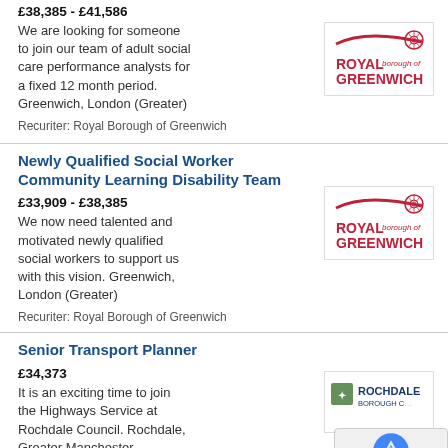£38,385 - £41,586
We are looking for someone to join our team of adult social care performance analysts for a fixed 12 month period. Greenwich, London (Greater)
Recuriter: Royal Borough of Greenwich
[Figure (logo): Royal Borough of Greenwich logo with red swoosh and text]
Newly Qualified Social Worker Community Learning Disability Team
£33,909 - £38,385
We now need talented and motivated newly qualified social workers to support us with this vision. Greenwich, London (Greater)
Recuriter: Royal Borough of Greenwich
[Figure (logo): Royal Borough of Greenwich logo with red swoosh and text]
Senior Transport Planner
£34,373
It is an exciting time to join the Highways Service at Rochdale Council. Rochdale, Greater Manchester
Recuriter: Rochdale BC
[Figure (logo): Rochdale Borough Council logo]